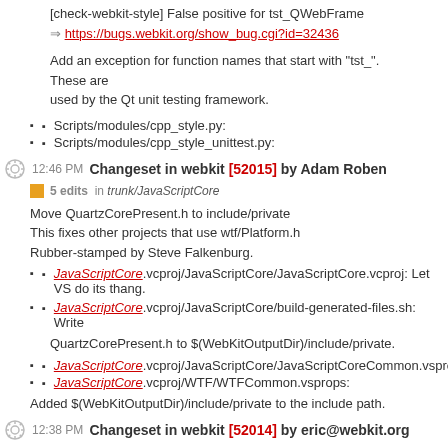[check-webkit-style] False positive for tst_QWebFrame
⇒ https://bugs.webkit.org/show_bug.cgi?id=32436
Add an exception for function names that start with "tst_".
These are
used by the Qt unit testing framework.
Scripts/modules/cpp_style.py:
Scripts/modules/cpp_style_unittest.py:
12:46 PM Changeset in webkit [52015] by Adam Roben
5 edits in trunk/JavaScriptCore
Move QuartzCorePresent.h to include/private
This fixes other projects that use wtf/Platform.h
Rubber-stamped by Steve Falkenburg.
JavaScriptCore.vcproj/JavaScriptCore/JavaScriptCore.vcproj: Let VS do its thang.
JavaScriptCore.vcproj/JavaScriptCore/build-generated-files.sh: Write QuartzCorePresent.h to $(WebKitOutputDir)/include/private.
JavaScriptCore.vcproj/JavaScriptCore/JavaScriptCoreCommon.vsprops:
JavaScriptCore.vcproj/WTF/WTFCommon.vsprops:
Added $(WebKitOutputDir)/include/private to the include path.
12:38 PM Changeset in webkit [52014] by eric@webkit.org